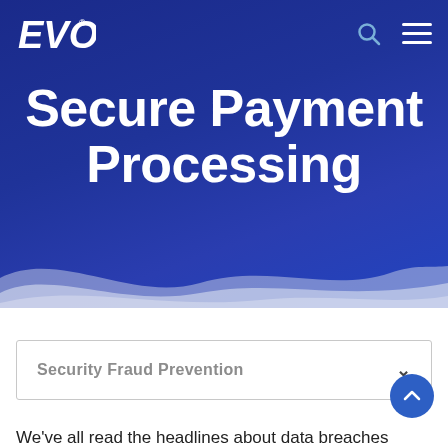[Figure (screenshot): EVO Payments logo in white italic text with trademark symbol on dark blue navigation bar background]
Secure Payment Processing
[Figure (illustration): Blue wave decorative element at bottom of hero banner separating dark blue hero from white body]
[Figure (illustration): Circular accessibility icon button with person/wheelchair symbol in white on blue circle]
Security Fraud Prevention
[Figure (illustration): Scroll to top button with upward chevron on dark blue circle]
We've all read the headlines about data breaches